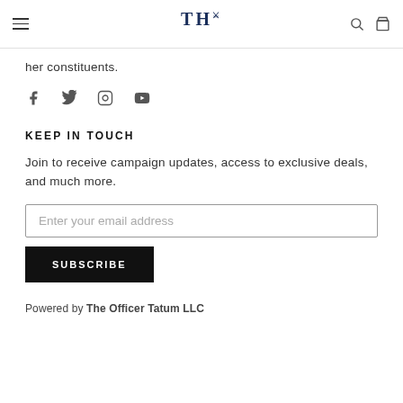TH (logo) — The Officer Tatum header navigation
her constituents.
[Figure (illustration): Social media icons: Facebook, Twitter, Instagram, YouTube]
KEEP IN TOUCH
Join to receive campaign updates, access to exclusive deals, and much more.
Enter your email address
SUBSCRIBE
Powered by The Officer Tatum LLC